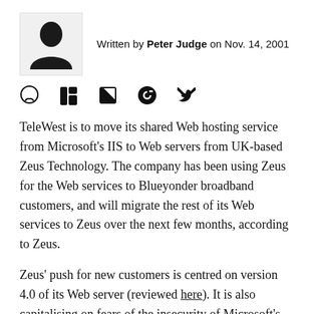[Figure (illustration): Silhouette avatar/person icon placeholder image]
Written by Peter Judge on Nov. 14, 2001
[Figure (infographic): Social sharing icons: comment bubble, LinkedIn, Flipboard, Facebook, Twitter]
TeleWest is to move its shared Web hosting service from Microsoft's IIS to Web servers from UK-based Zeus Technology. The company has been using Zeus for the Web services to Blueyonder broadband customers, and will migrate the rest of its Web services to Zeus over the next few months, according to Zeus.
Zeus' push for new customers is centred on version 4.0 of its Web server (reviewed here). It is also capitalising on fears of the insecurity of Microsoft's